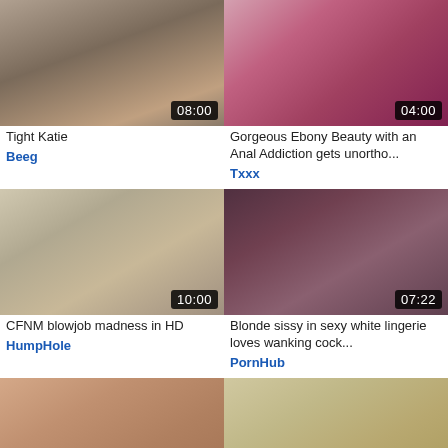[Figure (photo): Video thumbnail with duration 08:00]
Tight Katie
Beeg
[Figure (photo): Video thumbnail with duration 04:00]
Gorgeous Ebony Beauty with an Anal Addiction gets unortho...
Txxx
[Figure (photo): Video thumbnail with duration 10:00]
CFNM blowjob madness in HD
HumpHole
[Figure (photo): Video thumbnail with duration 07:22]
Blonde sissy in sexy white lingerie loves wanking cock...
PornHub
[Figure (photo): Video thumbnail with duration 08:00]
Busty brunette is riding long penis
[Figure (photo): Video thumbnail with duration 08:00]
Blonde Lana with big breasts and clean bush and Sunny...